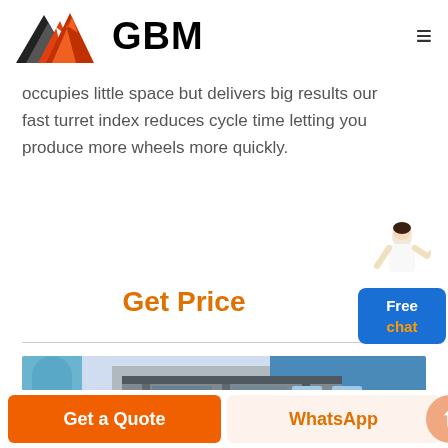GBM
occupies little space but delivers big results our fast turret index reduces cycle time letting you produce more wheels more quickly.
Get Price
[Figure (photo): Industrial facility with blue pipes and blue metal building structure with steel scaffolding and yellow safety railings]
Get a Quote
WhatsApp